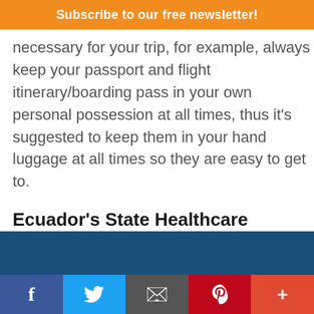Subscribe to our free newsletter!
necessary for your trip, for example, always keep your passport and flight itinerary/boarding pass in your own personal possession at all times, thus it's suggested to keep them in your hand luggage at all times so they are easy to get to.
Ecuador's State Healthcare Program of IESS Is Now Open To All Residents of Ecuador
Over the past ten years, there have been major changes to Ecuador's healthcare